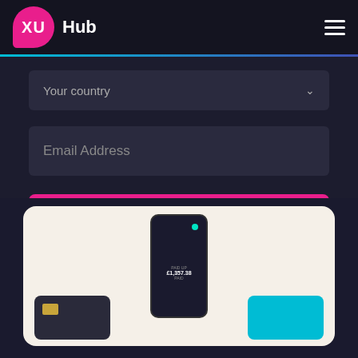XU Hub
Your country
Email Address
Subscribe for FREE
I have read and agree to the Privacy Policy
Follow @xumagazine  14.4K followers
[Figure (photo): Financial app screenshot showing phone with £1,357.38 balance, dark credit card on left and teal card on right, on cream background]